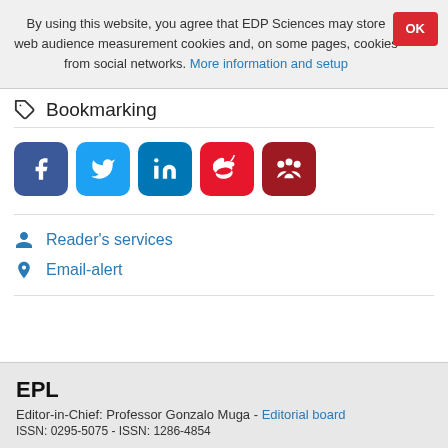By using this website, you agree that EDP Sciences may store web audience measurement cookies and, on some pages, cookies from social networks. More information and setup
Bookmarking
[Figure (other): Social sharing icons: Facebook, Twitter, LinkedIn, Weibo, Mendeley]
Reader's services
Email-alert
EPL
Editor-in-Chief: Professor Gonzalo Muga - Editorial board
ISSN: 0295-5075 - ISSN: 1286-4854